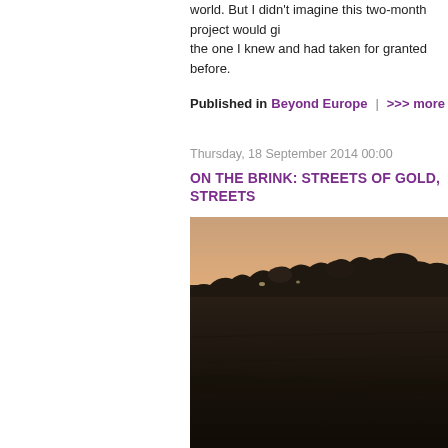world. But I didn't imagine this two-month project would gi the one I knew and had taken for granted before.
Published in  Beyond Europe  |  >>> more
Thursday, 18 September 2014 00:00
ON THE BRINK: STREETS OF GOLD, STREETS
[Figure (photo): Landscape photo showing a dark flat field at dusk/twilight with a warm orange-pink sky on the horizon and silhouettes of trees in the distance.]